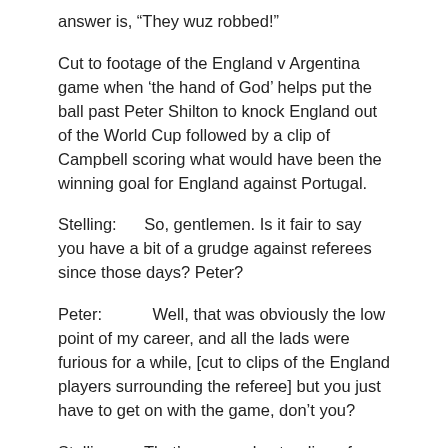answer is, “They wuz robbed!”
Cut to footage of the England v Argentina game when ‘the hand of God’ helps put the ball past Peter Shilton to knock England out of the World Cup followed by a clip of Campbell scoring what would have been the winning goal for England against Portugal.
Stelling:      So, gentlemen. Is it fair to say you have a bit of a grudge against referees since those days? Peter?
Peter:          Well, that was obviously the low point of my career, and all the lads were furious for a while, [cut to clips of the England players surrounding the referee] but you just have to get on with the game, don’t you?
Stelling:      That’s very understanding of you, but didn’t you wish that the referee had had a TV replay or something?